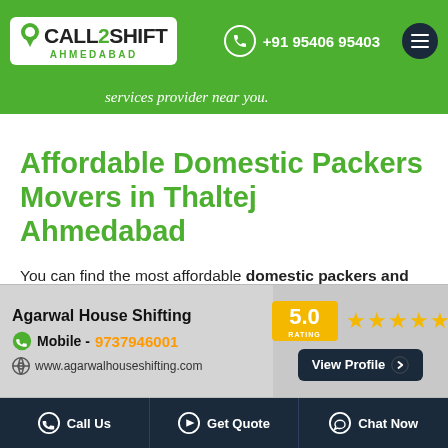CALL2SHIFT AHMEDABAD | +91 95406 95403
services provider near you.
Affordable Domestic Packers Movers in Thaltej Ahmedabad
You can find the most affordable domestic packers and movers in Thaltej at Call2ShiftAhmedabad. They are not only affordable but also have a reliable service to offer the customers. When you want to shift your goods anywhere within a country then you must hire
[Figure (infographic): Agarwal House Shifting advertisement banner with company name, phone number 9737946001, website www.agarwalhouseshifting.com, 5.0 rating with stars, and View Profile button]
Call Us | Get Quote | Chat Now